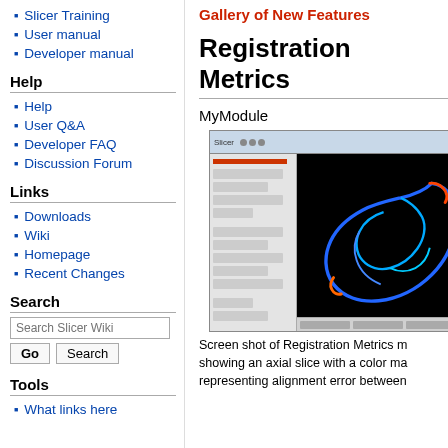Slicer Training
User manual
Developer manual
Help
Help
User Q&A
Developer FAQ
Discussion Forum
Links
Downloads
Wiki
Homepage
Recent Changes
Search
Search Slicer Wiki [Go] [Search]
Tools
What links here
Gallery of New Features
Registration Metrics
MyModule
[Figure (screenshot): Screen shot of the Registration Metrics module in 3D Slicer showing an axial slice with a color map representing alignment error between structures]
Screen shot of Registration Metrics module showing an axial slice with a color map representing alignment error between